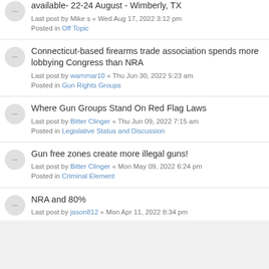available- 22-24 August - Wimberly, TX
Last post by Mike s « Wed Aug 17, 2022 3:12 pm
Posted in Off Topic
Connecticut-based firearms trade association spends more lobbying Congress than NRA
Last post by warnmar10 « Thu Jun 30, 2022 5:23 am
Posted in Gun Rights Groups
Where Gun Groups Stand On Red Flag Laws
Last post by Bitter Clinger « Thu Jun 09, 2022 7:15 am
Posted in Legislative Status and Discussion
Gun free zones create more illegal guns!
Last post by Bitter Clinger « Mon May 09, 2022 6:24 pm
Posted in Criminal Element
NRA and 80%
Last post by jason812 « Mon Apr 11, 2022 8:34 pm